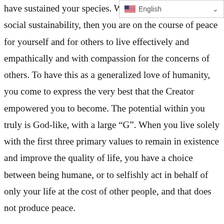have sustained your species. Whe…e secondary values of social sustainability, then you are on the course of peace for yourself and for others to live effectively and empathically and with compassion for the concerns of others. To have this as a generalized love of humanity, you come to express the very best that the Creator empowered you to become. The potential within you truly is God-like, with a large “G”. When you live solely with the first three primary values to remain in existence and improve the quality of life, you have a choice between being humane, or to selfishly act in behalf of only your life at the cost of other people, and that does not produce peace.
We hope you enjoy and appreciate this connected-ness as between the Correcting Time, the approach of the Avonal So…